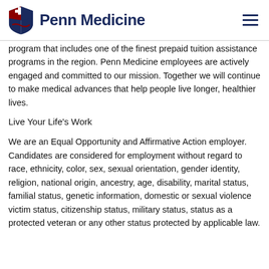Penn Medicine
program that includes one of the finest prepaid tuition assistance programs in the region. Penn Medicine employees are actively engaged and committed to our mission. Together we will continue to make medical advances that help people live longer, healthier lives.
Live Your Life's Work
We are an Equal Opportunity and Affirmative Action employer. Candidates are considered for employment without regard to race, ethnicity, color, sex, sexual orientation, gender identity, religion, national origin, ancestry, age, disability, marital status, familial status, genetic information, domestic or sexual violence victim status, citizenship status, military status, status as a protected veteran or any other status protected by applicable law.